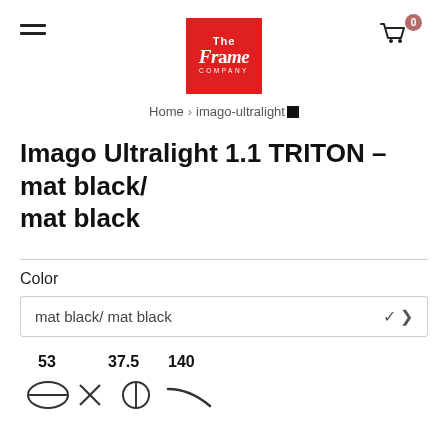[Figure (logo): The Frame Company logo — red square with white text]
Home > imago-ultralight
Imago Ultralight 1.1 TRITON - mat black/ mat black
Color
mat black/ mat black
[Figure (infographic): Eyeglasses measurement icons: lens width 53, bridge 37.5, temple length 140, with icons for lens, bridge, and temple arm]